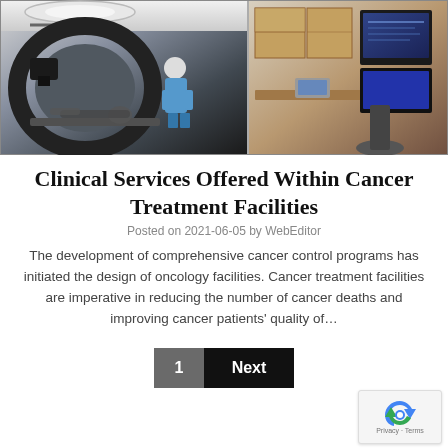[Figure (photo): Split-panel photo: left side shows a radiation therapy machine (linear accelerator gantry) with a patient lying on the treatment table and a clinician in blue scrubs attending; right side shows a clinical control room with wood cabinets, a monitor, and medical equipment.]
Clinical Services Offered Within Cancer Treatment Facilities
Posted on 2021-06-05 by WebEditor
The development of comprehensive cancer control programs has initiated the design of oncology facilities. Cancer treatment facilities are imperative in reducing the number of cancer deaths and improving cancer patients' quality of...
1   Next